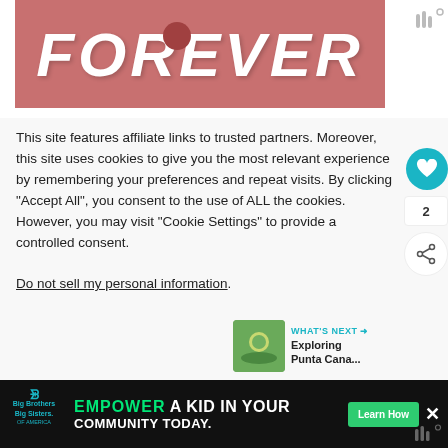[Figure (illustration): Red/pink banner with large bold italic white text reading FOREVER, with decorative dark circular dot, and a small weatherbug icon in the corner]
This site features affiliate links to trusted partners. Moreover, this site uses cookies to give you the most relevant experience by remembering your preferences and repeat visits. By clicking “Accept All”, you consent to the use of ALL the cookies. However, you may visit "Cookie Settings" to provide a controlled consent.
Do not sell my personal information.
[Figure (infographic): What's Next panel showing a thumbnail of a tropical scene and text 'Exploring Punta Cana...' with a teal arrow]
[Figure (screenshot): Bottom advertisement bar for Big Brothers Big Sisters with text EMPOWER A KID IN YOUR COMMUNITY TODAY and a Learn How button]